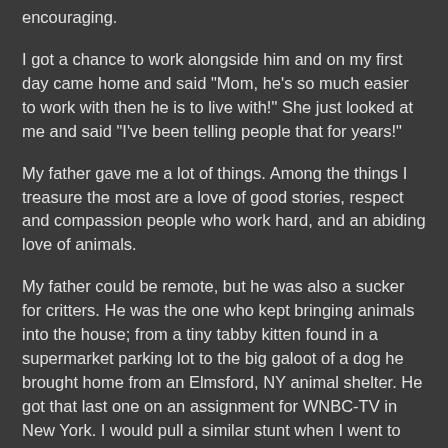encouraging.
I got a chance to work alongside him and on my first day came home and said "Mom, he's so much easier to work with then he is to live with!" She just looked at me and said "I've been telling people that for years!"
My father gave me a lot of things. Among the things I treasure the most are a love of good stories, respect and compassion people who work hard, and an abiding love of animals.
My father could be remote, but he was also a sucker for critters. He was the one who kept bringing animals into the house; from a tiny tabby kitten found in a supermarket parking lot to the big galoot of a dog he brought home from an Elmsford, NY animal shelter. He got that last one on an assignment for WNBC-TV in New York. I would pull a similar stunt when I went to the Washington Humane Society on a story 19 years ago and came home with the most finicky, silly little cat I ever had.